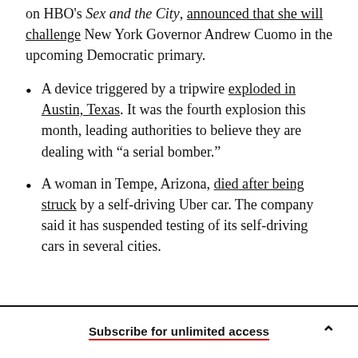on HBO's Sex and the City, announced that she will challenge New York Governor Andrew Cuomo in the upcoming Democratic primary.
A device triggered by a tripwire exploded in Austin, Texas. It was the fourth explosion this month, leading authorities to believe they are dealing with “a serial bomber.”
A woman in Tempe, Arizona, died after being struck by a self-driving Uber car. The company said it has suspended testing of its self-driving cars in several cities.
Subscribe for unlimited access